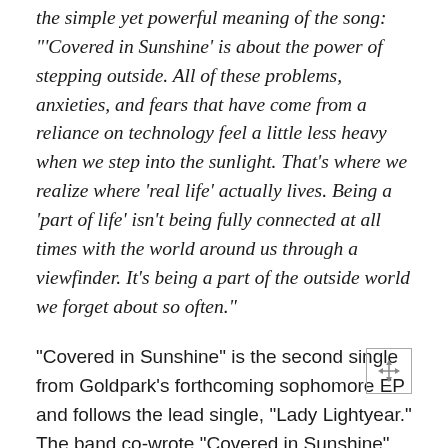the simple yet powerful meaning of the song: "'Covered in Sunshine' is about the power of stepping outside. All of these problems, anxieties, and fears that have come from a reliance on technology feel a little less heavy when we step into the sunlight. That's where we realize where 'real life' actually lives. Being a 'part of life' isn't being fully connected at all times with the world around us through a viewfinder. It's being a part of the outside world we forget about so often."
"Covered in Sunshine" is the second single from Goldpark's forthcoming sophomore EP and follows the lead single, "Lady Lightyear." The band co-wrote "Covered in Sunshine" with Trent Dabbs (Kacey Musgraves, etc.) and...